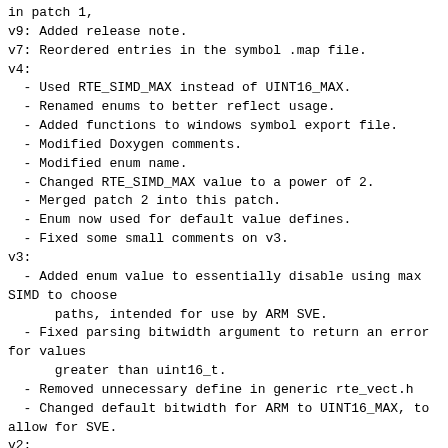in patch 1,
v9: Added release note.
v7: Reordered entries in the symbol .map file.
v4:
  - Used RTE_SIMD_MAX instead of UINT16_MAX.
  - Renamed enums to better reflect usage.
  - Added functions to windows symbol export file.
  - Modified Doxygen comments.
  - Modified enum name.
  - Changed RTE_SIMD_MAX value to a power of 2.
  - Merged patch 2 into this patch.
  - Enum now used for default value defines.
  - Fixed some small comments on v3.
v3:
  - Added enum value to essentially disable using max SIMD to choose
      paths, intended for use by ARM SVE.
  - Fixed parsing bitwidth argument to return an error for values
      greater than uint16_t.
  - Removed unnecessary define in generic rte_vect.h
  - Changed default bitwidth for ARM to UINT16_MAX, to allow for SVE.
v2:
  - Added to Doxygen comment for API.
  - Changed default bitwidth for Arm to 128.
---
 doc/guides/linux_gsg/eal_args.include.rst  | 16
++++
 .../prog_guide/env_abstraction_layer.rst   | 34
+++++++